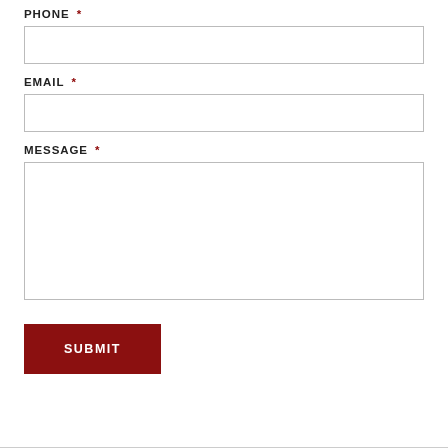PHONE *
EMAIL *
MESSAGE *
SUBMIT